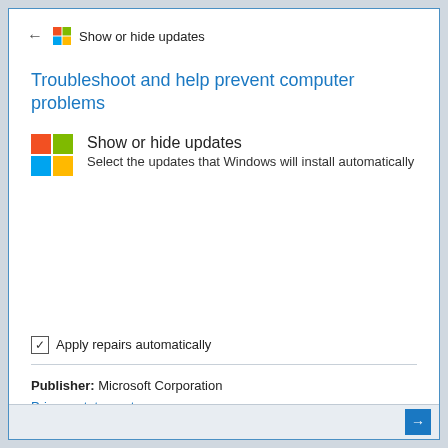← Show or hide updates
Troubleshoot and help prevent computer problems
Show or hide updates
Select the updates that Windows will install automatically
☑ Apply repairs automatically
Publisher:  Microsoft Corporation
Privacy statement